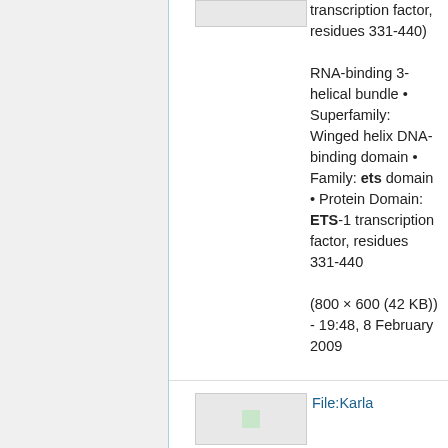transcription factor, residues 331-440) RNA-binding 3-helical bundle • Superfamily: Winged helix DNA-binding domain • Family: ets domain • Protein Domain: ETS-1 transcription factor, residues 331-440 (800 × 600 (42 KB)) - 19:48, 8 February 2009
File:Karla